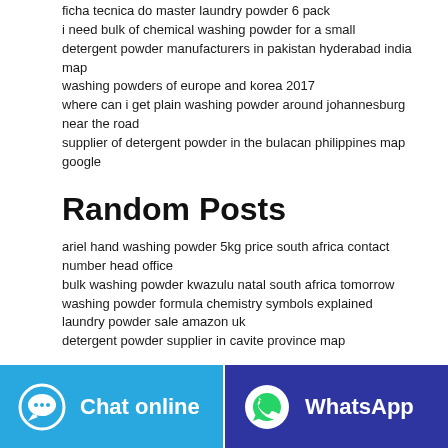ficha tecnica do master laundry powder 6 pack
i need bulk of chemical washing powder for a small
detergent powder manufacturers in pakistan hyderabad india map
washing powders of europe and korea 2017
where can i get plain washing powder around johannesburg near the road
supplier of detergent powder in the bulacan philippines map google
Random Posts
ariel hand washing powder 5kg price south africa contact number head office
bulk washing powder kwazulu natal south africa tomorrow
washing powder formula chemistry symbols explained
laundry powder sale amazon uk
detergent powder supplier in cavite province map
Chat online
WhatsApp